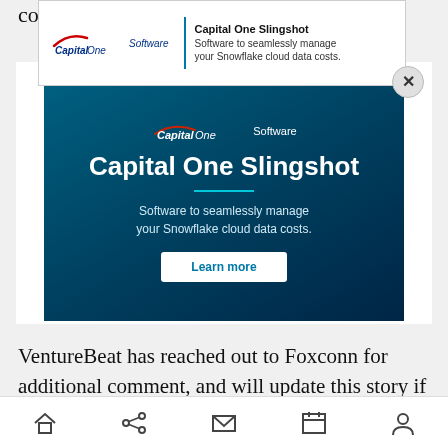conti…
[Figure (screenshot): Capital One Software Slingshot advertisement banner and main ad unit. Top banner shows Capital One Software logo with text 'Capital One Slingshot – Software to seamlessly manage your Snowflake cloud data costs.' with a close (X) button. Main ad is a dark blue banner with Capital One Software logo, heading 'Capital One Slingshot', teal underline, subtitle 'Software to seamlessly manage your Snowflake cloud data costs.', and a white 'Learn more' button. Label 'ADVERTISEMENT' appears above the main ad.]
VentureBeat has reached out to Foxconn for additional comment, and will update this story if
Home  Share  Mail  Calendar  Profile